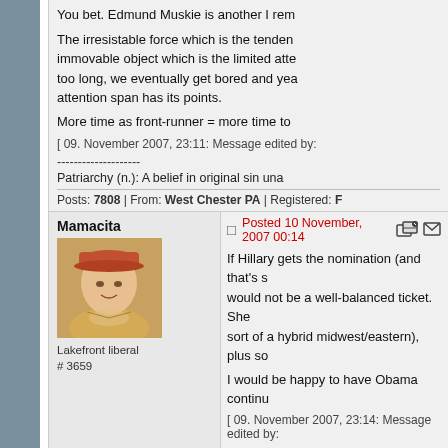You bet. Edmund Muskie is another I rem
The irresistable force which is the tenden immovable object which is the limited atte too long, we eventually get bored and yea attention span has its points.
More time as front-runner = more time to
[ 09. November 2007, 23:11: Message edited by:
--------------------
Patriarchy (n.): A belief in original sin una
Posts: 7808 | From: West Chester PA | Registered:
Mamacita
Lakefront liberal
# 3659
Posted 10 November, 2007 00:14
If Hillary gets the nomination (and that's s would not be a well-balanced ticket. She sort of a hybrid midwest/eastern), plus so
I would be happy to have Obama continu
[ 09. November 2007, 23:14: Message edited by:
--------------------
Do not be daunted by the enormity of the now. You are not obligated to complete th
Posts: 20761 | From: where the purple line ends f